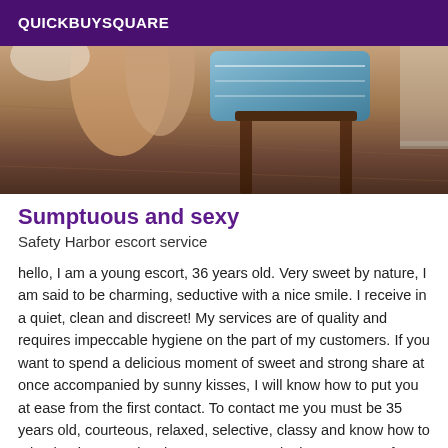QUICKBUYSQUARE
[Figure (photo): Partial photo showing a wooden chair with blue upholstery and a person's legs in the background on a wooden floor]
Sumptuous and sexy
Safety Harbor escort service
hello, I am a young escort, 36 years old. Very sweet by nature, I am said to be charming, seductive with a nice smile. I receive in a quiet, clean and discreet! My services are of quality and requires impeccable hygiene on the part of my customers. If you want to spend a delicious moment of sweet and strong share at once accompanied by sunny kisses, I will know how to put you at ease from the first contact. To contact me you must be 35 years old, courteous, relaxed, selective, classy and know how to take the time to enjoy the moment spent in the company of a beautiful creature